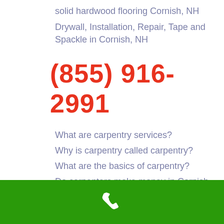solid hardwood flooring Cornish, NH
Drywall, Installation, Repair, Tape and Spackle in Cornish, NH
(855) 916-2991
What are carpentry services?
Why is carpentry called carpentry?
What are the basics of carpentry?
Do carpenters make money in Cornish, NH?
Is carpentry a good trade in Cornish, New Hampshire?
Where are the highest paid carpenters?
[Figure (illustration): Green footer bar with white phone handset icon]